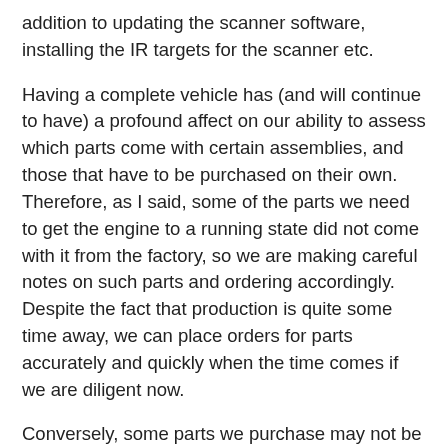addition to updating the scanner software, installing the IR targets for the scanner etc.
Having a complete vehicle has (and will continue to have) a profound affect on our ability to assess which parts come with certain assemblies, and those that have to be purchased on their own. Therefore, as I said, some of the parts we need to get the engine to a running state did not come with it from the factory, so we are making careful notes on such parts and ordering accordingly. Despite the fact that production is quite some time away, we can place orders for parts accurately and quickly when the time comes if we are diligent now.
Conversely, some parts we purchase may not be used in the prototype, or may come with other assemblies, so we will keep track of these parts as well. In the case of such parts, not using them is often a decision that must be made after purchasing the part, installing it and finding that it simply won't work for any of a number of reasons - too heavy, too expensive, interferes with another part etc. However, all is not lost on such parts since it is often a means to an end.